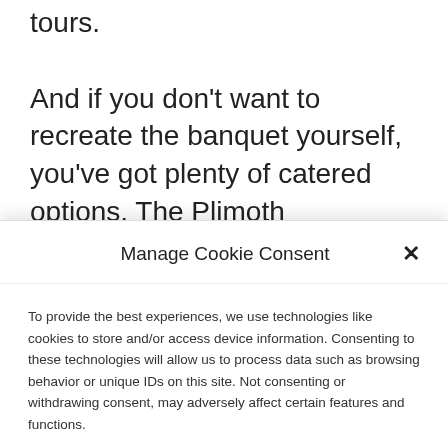tours.
And if you don't want to recreate the banquet yourself, you've got plenty of catered options. The Plimoth Plantation historical park offers a lu...
Manage Cookie Consent
To provide the best experiences, we use technologies like cookies to store and/or access device information. Consenting to these technologies will allow us to process data such as browsing behavior or unique IDs on this site. Not consenting or withdrawing consent, may adversely affect certain features and functions.
Accept
Cookie Policy | Privacy Statement | Imprint